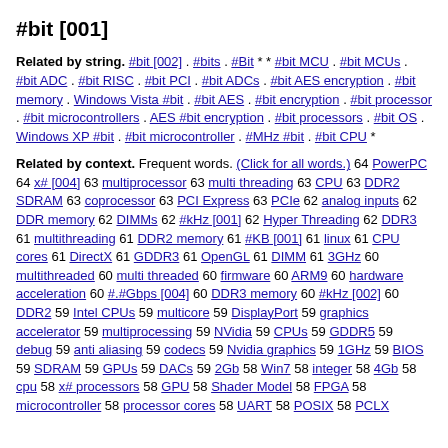#bit [001]
Related by string. #bit [002] . #bits . #Bit * * #bit MCU . #bit MCUs . #bit ADC . #bit RISC . #bit PCI . #bit ADCs . #bit AES encryption . #bit memory . Windows Vista #bit . #bit AES . #bit encryption . #bit processor . #bit microcontrollers . AES #bit encryption . #bit processors . #bit OS . Windows XP #bit . #bit microcontroller . #MHz #bit . #bit CPU *
Related by context. Frequent words. (Click for all words.) 64 PowerPC 64 x# [004] 63 multiprocessor 63 multi threading 63 CPU 63 DDR2 SDRAM 63 coprocessor 63 PCI Express 63 PCIe 62 analog inputs 62 DDR memory 62 DIMMs 62 #kHz [001] 62 Hyper Threading 62 DDR3 61 multithreading 61 DDR2 memory 61 #KB [001] 61 linux 61 CPU cores 61 DirectX 61 GDDR3 61 OpenGL 61 DIMM 61 3GHz 60 multithreaded 60 multi threaded 60 firmware 60 ARM9 60 hardware acceleration 60 #.#Gbps [004] 60 DDR3 memory 60 #kHz [002] 60 DDR2 59 Intel CPUs 59 multicore 59 DisplayPort 59 graphics accelerator 59 multiprocessing 59 NVidia 59 CPUs 59 GDDR5 59 debug 59 anti aliasing 59 codecs 59 Nvidia graphics 59 1GHz 59 BIOS 59 SDRAM 59 GPUs 59 DACs 59 2Gb 58 Win7 58 integer 58 4Gb 58 cpu 58 x# processors 58 GPU 58 Shader Model 58 FPGA 58 microcontroller 58 processor cores 58 UART 58 POSIX 58 PCLX